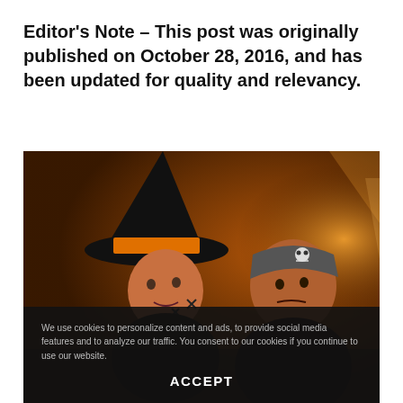Editor's Note – This post was originally published on October 28, 2016, and has been updated for quality and relevancy.
[Figure (photo): Two people in Halloween costumes: a woman wearing a large black witch hat with an orange band and face paint, and a man wearing a pirate bandana with skull design, set against a warm orange/amber background.]
We use cookies to personalize content and ads, to provide social media features and to analyze our traffic. You consent to our cookies if you continue to use our website.
ACCEPT